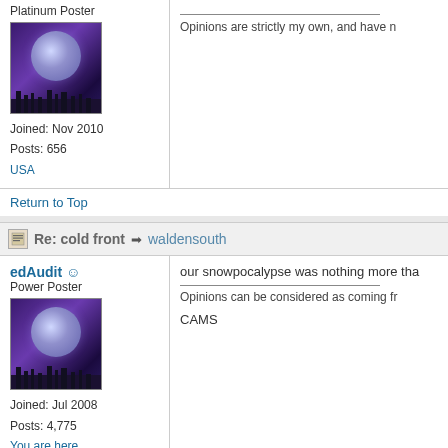Platinum Poster
[Figure (photo): Avatar image: moon over silhouettes against purple night sky]
Joined: Nov 2010
Posts: 656
USA
Opinions are strictly my own, and have n
Return to Top
Re: cold front → waldensouth
edAudit
Power Poster
[Figure (photo): Avatar image: moon over silhouettes against purple night sky]
Joined: Jul 2008
Posts: 4,775
You are here
our snowpocalypse was nothing more tha
Opinions can be considered as coming fr
CAMS
Return to Top
Re: cold front → edAudit
RR Sarah
This morning when I woke up it was -7 bu